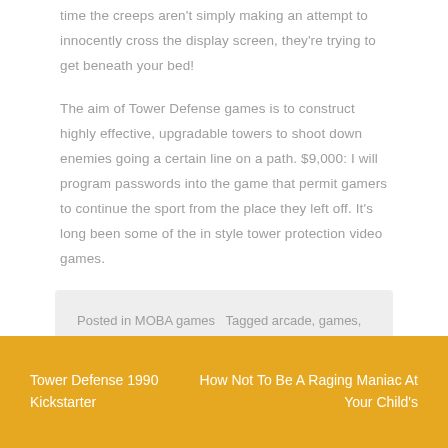time the creeps aren't simply making an attempt to innocently cross the display screen, they're trying to get beneath your bed!
The aim of Tower Defense games is to construct highly effective, upgradable towers to shoot down enemies going a certain line on a path. $9,000: I will program passwords into the game that permit gamers to continue the sport from the place they left off. It's long been some of the in style tower protection video games.
Posted in MOBA games   Tagged arcade, games, hacked, pokemon, protection, tower, video
Tower Defense 1990 Kickstarter
How Not To Be A Raging Maniac At Your Child's